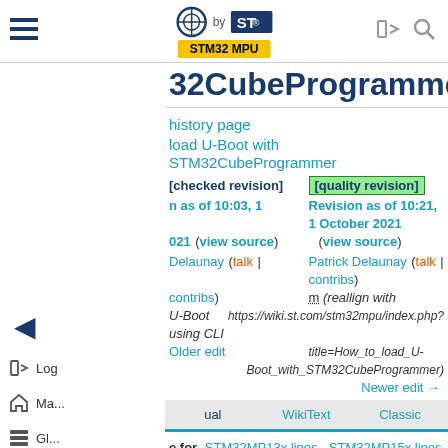STM32 MPU — wiki.st.com navigation bar
32CubeProgrammer
History page
Load U-Boot with STM32CubeProgrammer
[checked revision]   [quality revision]
Revision as of 10:03, 1 October 2021 (view source)   Revision as of 10:21, 1 October 2021 (view source)
Patrick Delaunay (talk | contribs)   Patrick Delaunay (talk | contribs)
m (reallign with U-Boot using CLI) https://wiki.st.com/stm32mpu/index.php?title=How_to_load_U-Boot_with_STM32CubeProgrammer)
Older edit   Newer edit →
Visual | WikiText | Classic
Applies for  STM32MP13x lines, STM32MP15x lines